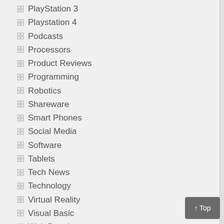PlayStation 3
Playstation 4
Podcasts
Processors
Product Reviews
Programming
Robotics
Shareware
Smart Phones
Social Media
Software
Tablets
Tech News
Technology
Virtual Reality
Visual Basic
Web Development
Webhosting
Weblogs
Xbox 360
Xbox One